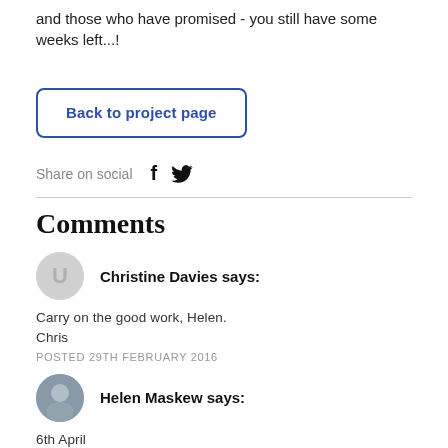and those who have promised - you still have some weeks left...!
Back to project page
Share on social
Comments
Christine Davies says:
Carry on the good work, Helen.
Chris
POSTED 29TH FEBRUARY 2016
Helen Maskew says:
6th April